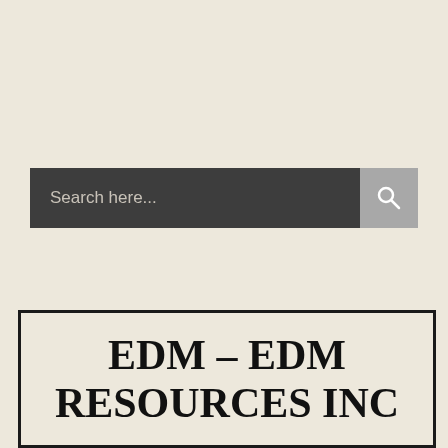[Figure (screenshot): Search bar with dark background showing 'Search here...' placeholder text and a grey search button with magnifying glass icon]
EDM – EDM RESOURCES INC